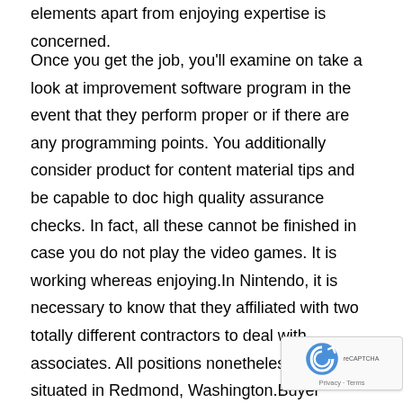elements apart from enjoying expertise is concerned.
Once you get the job, you'll examine on take a look at improvement software program in the event that they perform proper or if there are any programming points. You additionally consider product for content material tips and be capable to doc high quality assurance checks. In fact, all these cannot be finished in case you do not play the video games. It is working whereas enjoying.In Nintendo, it is necessary to know that they affiliated with two totally different contractors to deal with associates. All positions nonetheless are situated in Redmond, Washington.Buyer Service RepresentativeIn each product there is a buyer. As a customer support consultant you assist folks of their queries and issues concerning the product. Nintendo provides a gap for US and Canadian buyer assist. It will primarily cowl Nintendo Recreation techniques and arrangements operation and troubleshooting, product promotions and non-product benefits, communication questions, the